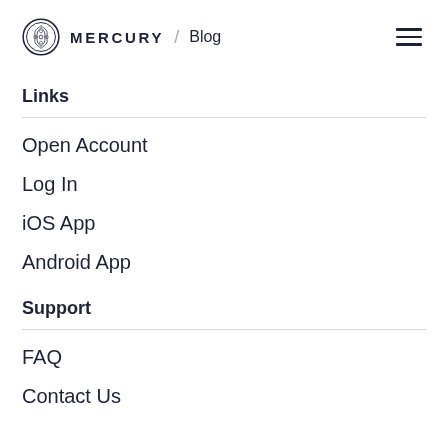MERCURY / Blog
Links
Open Account
Log In
iOS App
Android App
Support
FAQ
Contact Us